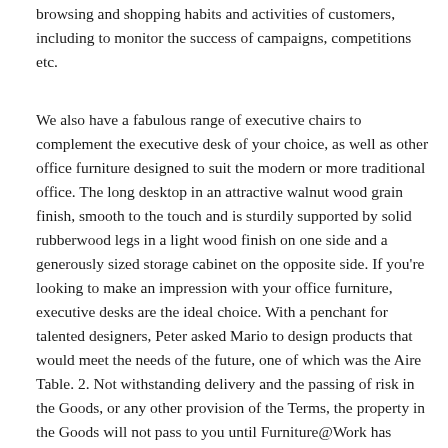browsing and shopping habits and activities of customers, including to monitor the success of campaigns, competitions etc.
We also have a fabulous range of executive chairs to complement the executive desk of your choice, as well as other office furniture designed to suit the modern or more traditional office. The long desktop in an attractive walnut wood grain finish, smooth to the touch and is sturdily supported by solid rubberwood legs in a light wood finish on one side and a generously sized storage cabinet on the opposite side. If you're looking to make an impression with your office furniture, executive desks are the ideal choice. With a penchant for talented designers, Peter asked Mario to design products that would meet the needs of the future, one of which was the Aire Table. 2. Not withstanding delivery and the passing of risk in the Goods, or any other provision of the Terms, the property in the Goods will not pass to you until Furniture@Work has received cleared